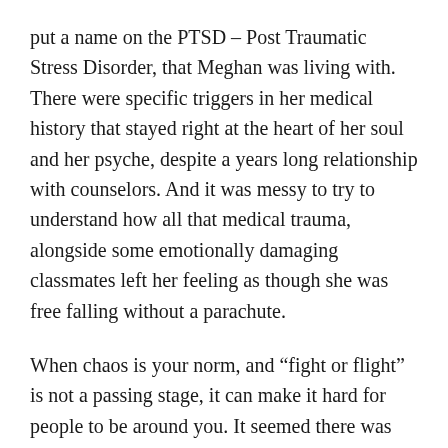put a name on the PTSD – Post Traumatic Stress Disorder, that Meghan was living with. There were specific triggers in her medical history that stayed right at the heart of her soul and her psyche, despite a years long relationship with counselors. And it was messy to try to understand how all that medical trauma, alongside some emotionally damaging classmates left her feeling as though she was free falling without a parachute.
When chaos is your norm, and "fight or flight" is not a passing stage, it can make it hard for people to be around you. It seemed there was always something new on the horizon – whether a new diagnosis or a test or a pending surgery, it was ALWAYS something. The amount of hours spent at medical appointments, testing, surgery, recovery were at times all consuming